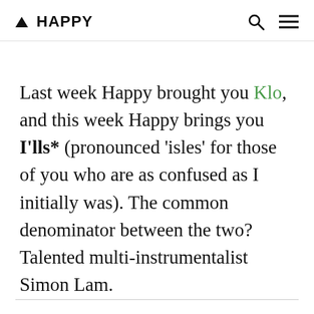▲ HAPPY
Last week Happy brought you Klo, and this week Happy brings you I'lls* (pronounced 'isles' for those of you who are as confused as I initially was). The common denominator between the two? Talented multi-instrumentalist Simon Lam.